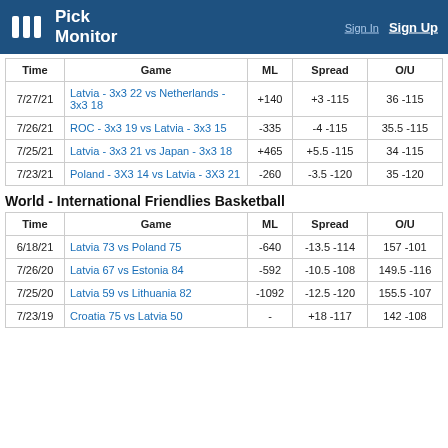Pick Monitor | Sign In | Sign Up
| Time | Game | ML | Spread | O/U |
| --- | --- | --- | --- | --- |
| 7/27/21 | Latvia - 3x3 22 vs Netherlands - 3x3 18 | +140 | +3 -115 | 36 -115 |
| 7/26/21 | ROC - 3x3 19 vs Latvia - 3x3 15 | -335 | -4 -115 | 35.5 -115 |
| 7/25/21 | Latvia - 3x3 21 vs Japan - 3x3 18 | +465 | +5.5 -115 | 34 -115 |
| 7/23/21 | Poland - 3X3 14 vs Latvia - 3X3 21 | -260 | -3.5 -120 | 35 -120 |
World - International Friendlies Basketball
| Time | Game | ML | Spread | O/U |
| --- | --- | --- | --- | --- |
| 6/18/21 | Latvia 73 vs Poland 75 | -640 | -13.5 -114 | 157 -101 |
| 7/26/20 | Latvia 67 vs Estonia 84 | -592 | -10.5 -108 | 149.5 -116 |
| 7/25/20 | Latvia 59 vs Lithuania 82 | -1092 | -12.5 -120 | 155.5 -107 |
| 7/23/19 | Croatia 75 vs Latvia 50 | - | +18 -117 | 142 -108 |